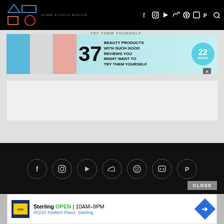HOME STUDIO BASICS — navigation bar with social icons
[Figure (screenshot): Advertisement banner: '37 BEAUTY PRODUCTS WITH SUCH GOOD REVIEWS YOU MIGHT WANT TO TRY THEM YOURSELF' with 22 Words badge]
[Figure (screenshot): Footer section with social media icon circles: Facebook, Instagram, YouTube, SoundCloud, Spotify, Discord, PayPal]
[Figure (screenshot): CLOSE button in grey]
[Figure (screenshot): Bottom ad: CarMax Sterling OPEN 10AM-9PM, 45210 Towlern Place, Sterling with navigation arrow]